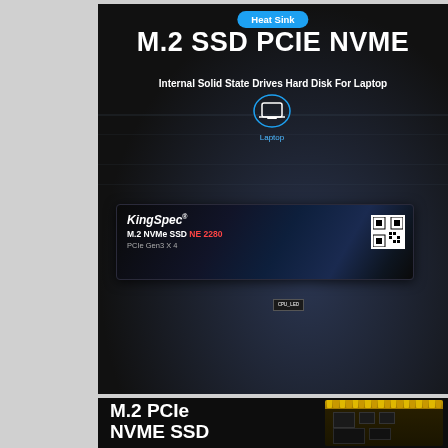[Figure (photo): KingSpec M.2 NVMe SSD PCIe Gen3 X4 NE 2280 product photo on a motherboard with laptop icon and Heat Sink badge]
[Figure (photo): KingSpec M.2 PCIe NVME SSD bottom section product image on dark background with mini SSD card visible]